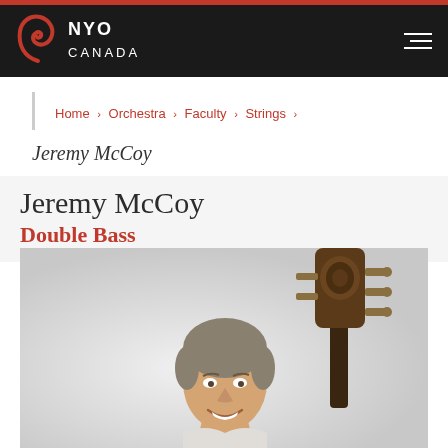NYO CANADA
Home > Orchestra > Faculty > Strings
Jeremy McCoy
Jeremy McCoy
Double Bass
[Figure (photo): Portrait photo of Jeremy McCoy smiling, holding a double bass instrument beside him against a light background]